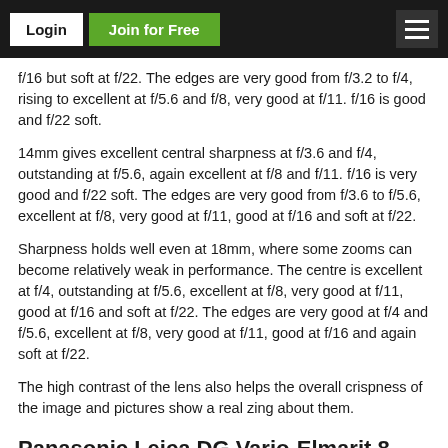Login | Join for Free
f/16 but soft at f/22. The edges are very good from f/3.2 to f/4, rising to excellent at f/5.6 and f/8, very good at f/11. f/16 is good and f/22 soft.
14mm gives excellent central sharpness at f/3.6 and f/4, outstanding at f/5.6, again excellent at f/8 and f/11. f/16 is very good and f/22 soft. The edges are very good from f/3.6 to f/5.6, excellent at f/8, very good at f/11, good at f/16 and soft at f/22.
Sharpness holds well even at 18mm, where some zooms can become relatively weak in performance. The centre is excellent at f/4, outstanding at f/5.6, excellent at f/8, very good at f/11, good at f/16 and soft at f/22. The edges are very good at f/4 and f/5.6, excellent at f/8, very good at f/11, good at f/16 and again soft at f/22.
The high contrast of the lens also helps the overall crispness of the image and pictures show a real zing about them.
Panasonic Leica DG Vario-Elmarit 8-18mm f/2.8-4.0 ASPH. MTF Charts